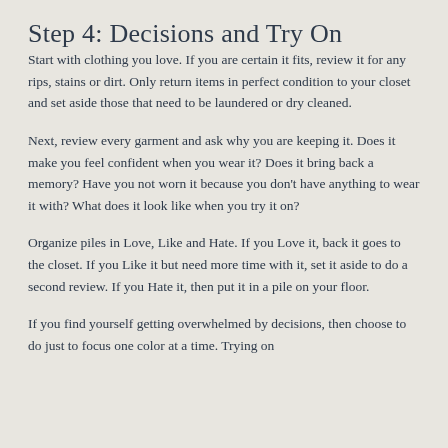Step 4: Decisions and Try On
Start with clothing you love. If you are certain it fits, review it for any rips, stains or dirt. Only return items in perfect condition to your closet and set aside those that need to be laundered or dry cleaned.
Next, review every garment and ask why you are keeping it. Does it make you feel confident when you wear it? Does it bring back a memory? Have you not worn it because you don't have anything to wear it with? What does it look like when you try it on?
Organize piles in Love, Like and Hate. If you Love it, back it goes to the closet. If you Like it but need more time with it, set it aside to do a second review. If you Hate it, then put it in a pile on your floor.
If you find yourself getting overwhelmed by decisions, then choose to do just to focus one color at a time. Trying on